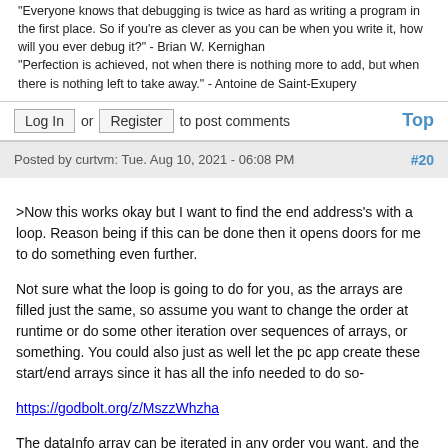"Everyone knows that debugging is twice as hard as writing a program in the first place. So if you're as clever as you can be when you write it, how will you ever debug it?" - Brian W. Kernighan
"Perfection is achieved, not when there is nothing more to add, but when there is nothing left to take away." - Antoine de Saint-Exupery
Log In or Register to post comments  Top
Posted by curtvm: Tue. Aug 10, 2021 - 06:08 PM  #20
>Now this works okay but I want to find the end address's with a loop. Reason being if this can be done then it opens doors for me to do something even further.

Not sure what the loop is going to do for you, as the arrays are filled just the same, so assume you want to change the order at runtime or do some other iteration over sequences of arrays, or something. You could also just as well let the pc app create these start/end arrays since it has all the info needed to do so-

https://godbolt.org/z/MszzWhzha

The dataInfo array can be iterated in any order you want, and the underlying info remains as-is (and all in flash in this case).